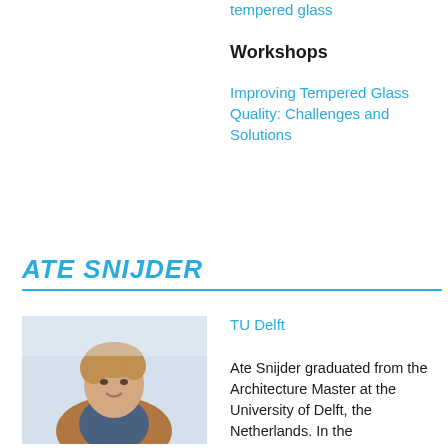tempered glass
Workshops
Improving Tempered Glass Quality: Challenges and Solutions
ATE SNIJDER
[Figure (photo): Portrait photo of Ate Snijder, a young man with light brown wavy hair, wearing a blue shirt and tan blazer, smiling, with a light background.]
TU Delft
Ate Snijder graduated from the Architecture Master at the University of Delft, the Netherlands. In the